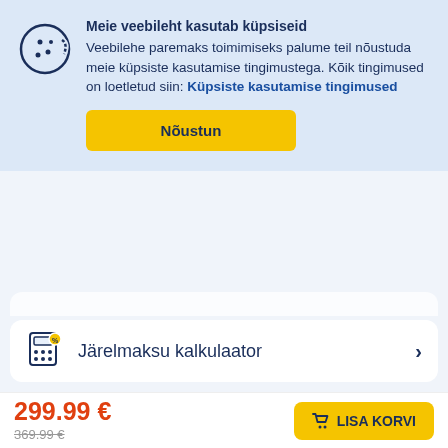Meie veebileht kasutab küpsiseid
Veebilehe paremaks toimimiseks palume teil nõustuda meie küpsiste kasutamise tingimustega. Kõik tingimused on loetletud siin: Küpsiste kasutamise tingimused
Nõustun
Järelmaksu kalkulaator
Tarneinfo
299.99 €
369.99 €
LISA KORVI